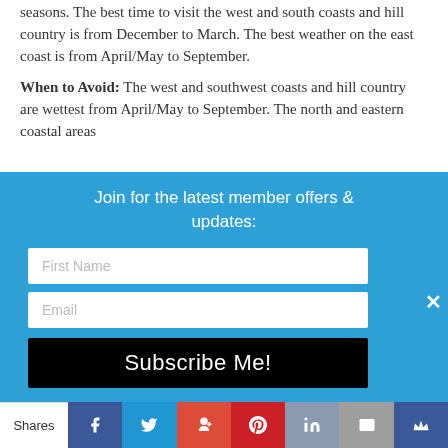seasons.  The best time to visit the west and south coasts and hill country is from December to March.  The best weather on the east coast is from April/May to September.
When to Avoid:  The west and southwest coasts and hill country are wettest from April/May to September.  The north and eastern coastal areas experience rain at times from October and...
Join for the latest member offers & updates:
First Name
Email
Subscribe Me!
Shares